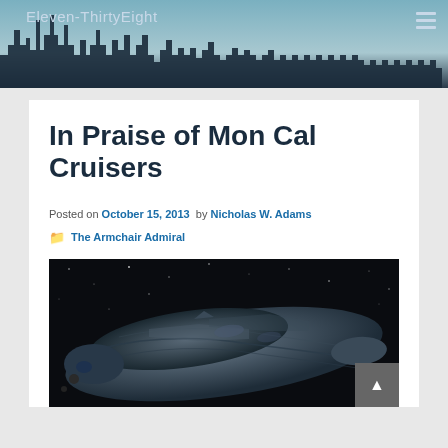Eleven-ThirtyEight
In Praise of Mon Cal Cruisers
Posted on October 15, 2013 by Nicholas W. Adams
The Armchair Admiral
[Figure (photo): A Mon Cal Cruiser spaceship in space, dark background with stars, grey/blue organic-looking starship hull visible]